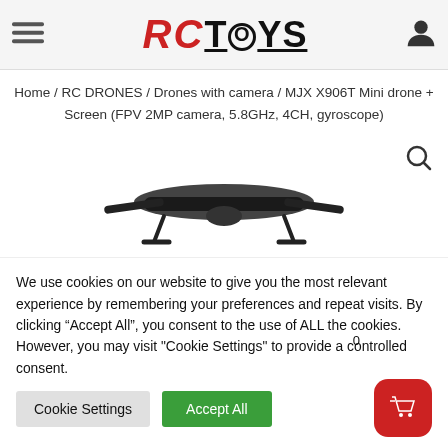[Figure (logo): RCTOYS website logo with hamburger menu and user icon in header]
Home / RC DRONES / Drones with camera / MJX X906T Mini drone + Screen (FPV 2MP camera, 5.8GHz, 4CH, gyroscope)
[Figure (photo): Partial top view of a drone/quadcopter product image]
We use cookies on our website to give you the most relevant experience by remembering your preferences and repeat visits. By clicking “Accept All”, you consent to the use of ALL the cookies. However, you may visit "Cookie Settings" to provide a controlled consent.
Cookie Settings   Accept All